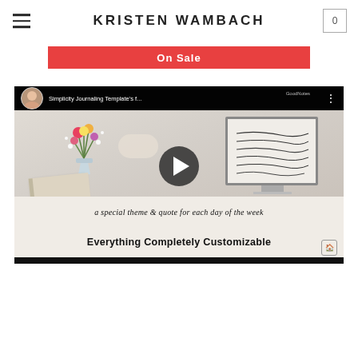KRISTEN WAMBACH
On Sale
[Figure (screenshot): YouTube-style video thumbnail showing a desk scene with a computer monitor, flowers, notebook, and keyboard. The video title reads 'Simplicity Journaling Template's f...' with a circular avatar of a woman. Overlay text reads 'a special theme & quote for each day of the week' and 'Everything Completely Customizable' with a play button in the center.]